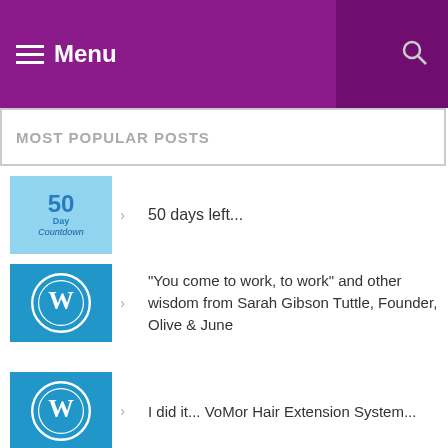Menu
MOST POPULAR POSTS
50 days left...
"You come to work, to work" and other wisdom from Sarah Gibson Tuttle, Founder, Olive & June
I did it... VoMor Hair Extension System...
Traveling in beauty and style
I feel naked without VoMor!